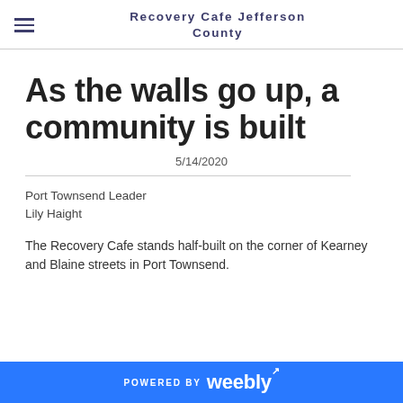Recovery Cafe Jefferson County
As the walls go up, a community is built
5/14/2020
Port Townsend Leader
Lily Haight
The Recovery Cafe stands half-built on the corner of Kearney and Blaine streets in Port Townsend.
POWERED BY weebly